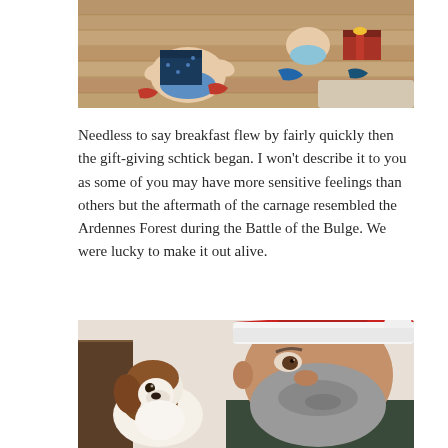[Figure (photo): Two babies/toddlers crawling on a hardwood floor surrounded by wrapped Christmas presents and torn wrapping paper.]
Needless to say breakfast flew by fairly quickly then the gift-giving schtick began. I won't describe it to you as some of you may have more sensitive feelings than others but the aftermath of the carnage resembled the Ardennes Forest during the Battle of the Bulge. We were lucky to make it out alive.
[Figure (photo): A bearded man wearing a Santa hat taking a selfie with a brown and white dog sitting beside him.]